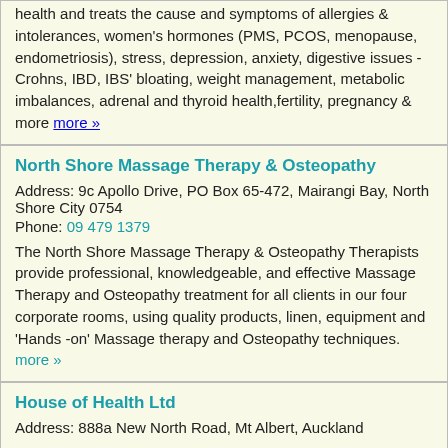health and treats the cause and symptoms of allergies & intolerances, women's hormones (PMS, PCOS, menopause, endometriosis), stress, depression, anxiety, digestive issues - Crohns, IBD, IBS' bloating, weight management, metabolic imbalances, adrenal and thyroid health,fertility, pregnancy & more more »
North Shore Massage Therapy & Osteopathy
Address: 9c Apollo Drive, PO Box 65-472, Mairangi Bay, North Shore City 0754
Phone: 09 479 1379
The North Shore Massage Therapy & Osteopathy Therapists provide professional, knowledgeable, and effective Massage Therapy and Osteopathy treatment for all clients in our four corporate rooms, using quality products, linen, equipment and 'Hands -on' Massage therapy and Osteopathy techniques. more »
House of Health Ltd
Address: 888a New North Road, Mt Albert, Auckland